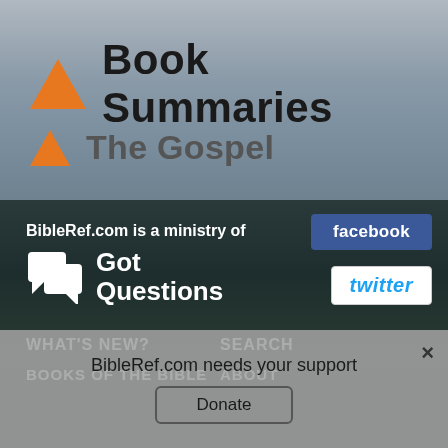Book Summaries
The Gospel
BibleRef.com is a ministry of
[Figure (logo): Got Questions logo with speech bubble icon and white text]
[Figure (logo): Facebook button - blue rectangle with white text 'facebook']
[Figure (logo): Twitter button - white rectangle with blue italic text 'twitter']
WHAT'S NEW?
SEARCH
BOOKS OF THE BIBLE
ABOUT
BibleRef.com needs your support
Donate